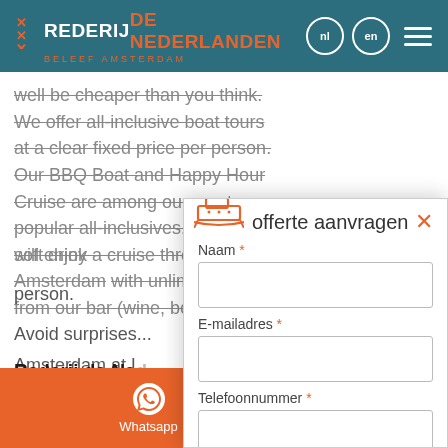REDERIJ DE NEDERLANDEN – BELEEF AMSTERDAM
well be cheaper than you think. We offer all-inclusive boat tours at a clear fixed price per person. Our BBQ Boat and Happy Hour Cruise are among our most popular all-inclusives. Your group will enjoy a cruise through Amsterdam with unlimited drinks from our bar (wine, beer, soft drinks…) person.
Avoid surprises Amsterdam at L Nederlanden. R 006 or email us
Rederij de Nederlanden specialist
offerte aanvragen
Naam *
E-mailadres *
Telefoonnummer *
Vaardatum – Optioneel